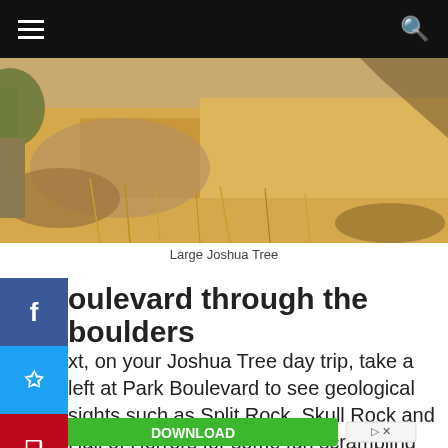[Figure (photo): Desert landscape with dry golden grass, shrub plants and a large Joshua Tree partially visible on the left side]
Large Joshua Tree
…boulevard through the boulders
…xt, on your Joshua Tree day trip, take a left at Park Boulevard to see geological sights such as Split Rock, Skull Rock and Hall of Horrors for some fun scrambling
[Figure (screenshot): Green Download button advertisement with 'Service At Your Fingertips' text below]